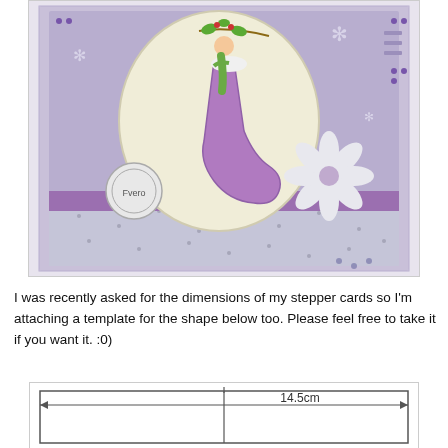[Figure (photo): A handmade stepper card featuring a purple/lavender color scheme with a fairy or elf figure in a Christmas stocking hanging from a branch, set in an oval frame on a layered card with decorative flowers and patterned paper borders. A circular stamp/seal reads 'Fvero'.]
I was recently asked for the dimensions of my stepper cards so I'm attaching a template for the shape below too. Please feel free to take it if you want it.  :0)
[Figure (engineering-diagram): A rectangular template diagram with a vertical center line dividing it into two halves. A horizontal double-headed arrow spans the full width, labeled '14.5cm'.]